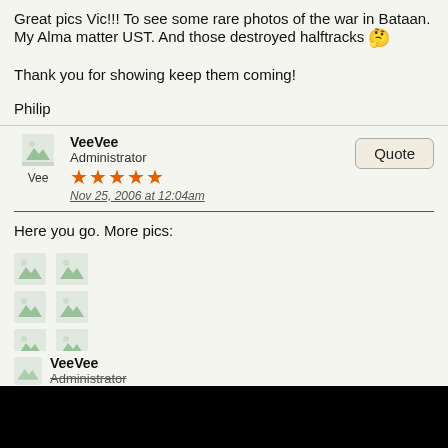Great pics Vic!!! To see some rare photos of the war in Bataan. My Alma matter UST. And those destroyed halftracks 🤔
Thank you for showing keep them coming!
Philip
VeeVee
Administrator
★★★★★
Nov 25, 2006 at 12:04am
Here you go. More pics:
[Figure (illustration): Six broken/missing image icons arranged in three rows of two]
I'm surprised they printed pictures of anti-Japanese billboards they found.
VeeVee
Administrator